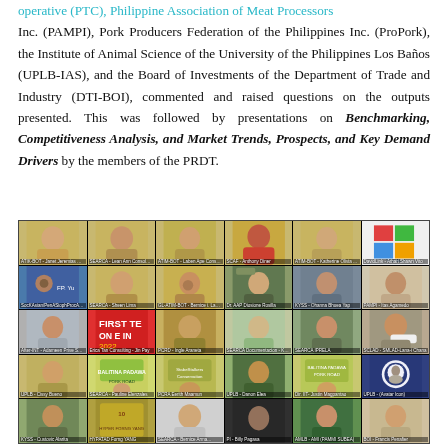operative (PTC), Philippine Association of Meat Processors Inc. (PAMPI), Pork Producers Federation of the Philippines Inc. (ProPork), the Institute of Animal Science of the University of the Philippines Los Baños (UPLB-IAS), and the Board of Investments of the Department of Trade and Industry (DTI-BOI), commented and raised questions on the outputs presented. This was followed by presentations on Benchmarking, Competitiveness Analysis, and Market Trends, Prospects, and Key Demand Drivers by the members of the PRDT.
[Figure (photo): Screenshot of an online video conference showing approximately 30 participants in a grid layout, representing various organizations including SEARCA, PAMPI, UPLB, BOI, and others involved in the stakeholder consultation meeting.]